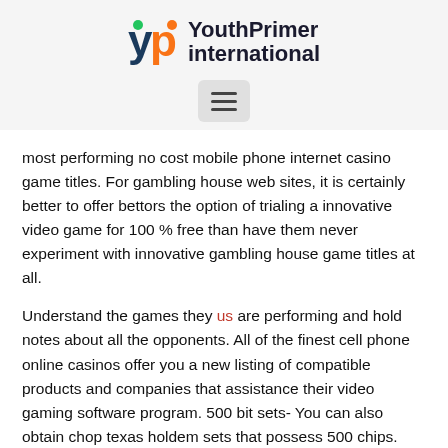YouthPrimer international
most performing no cost mobile phone internet casino game titles. For gambling house web sites, it is certainly better to offer bettors the option of trialing a innovative video game for 100 % free than have them never experiment with innovative gambling house game titles at all.
Understand the games they us are performing and hold notes about all the opponents. All of the finest cell phone online casinos offer you a new listing of compatible products and companies that assistance their video gaming software program. 500 bit sets- You can also obtain chop texas holdem sets that possess 500 chips. Clay surfaces gambling establishment texas holdem potato chips possess various dumbbells. An individual with the present of hitting